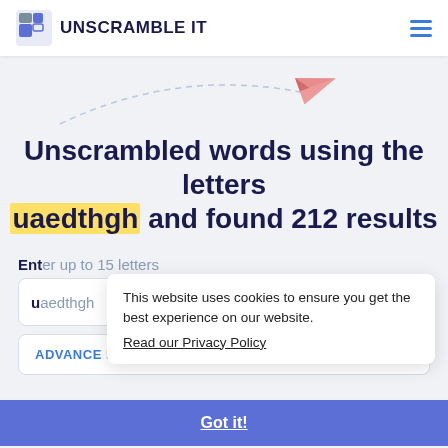UNSCRAMBLE IT
[Figure (illustration): Pink paper airplane with dashed curved flight path on light gray background]
Unscrambled words using the letters uaedthgh and found 212 results
Enter up to 15 letters
uaedthgh (search input with magnifier button)
ADVANCE FILTERS
This website uses cookies to ensure you get the best experience on our website. Read our Privacy Policy
Got it!